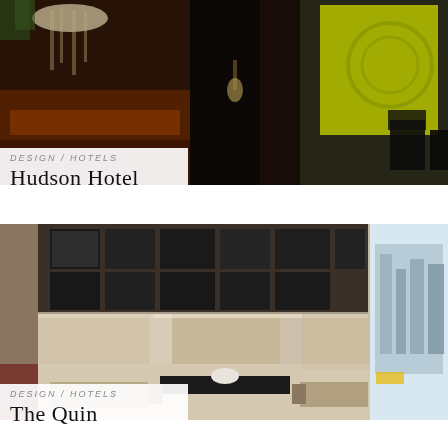[Figure (photo): Interior photo of Hudson Hotel showing moody bar/lobby area with chandeliers, brick walls, dark wood floors, orange glow, and a bright yellow-green glass panel on the right side]
DESIGN / HOTELS
Hudson Hotel
[Figure (photo): Interior photo of The Quin hotel showing a grand lobby with high ceilings, a large black-and-white art installation on the ceiling, stone columns, neutral-toned furniture, and a view of the New York City street outside]
DESIGN / HOTELS
The Quin